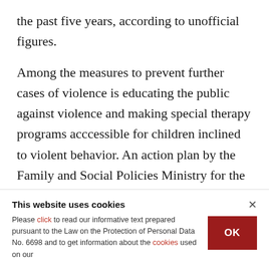the past five years, according to unofficial figures.
Among the measures to prevent further cases of violence is educating the public against violence and making special therapy programs acccessible for children inclined to violent behavior. An action plan by the Family and Social Policies Ministry for the next five years will be implemented in January. It includes therapy and rehabilitation for children who have been the victims or witnesses of violence
This website uses cookies
Please click to read our informative text prepared pursuant to the Law on the Protection of Personal Data No. 6698 and to get information about the cookies used on our